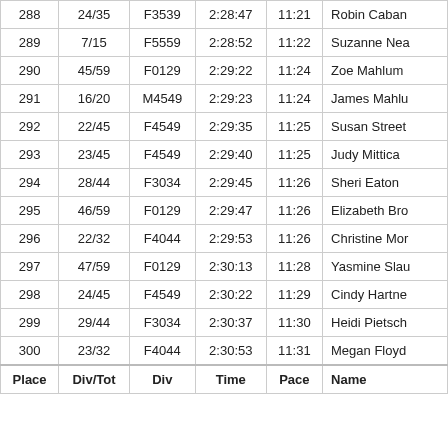| Place | Div/Tot | Div | Time | Pace | Name |
| --- | --- | --- | --- | --- | --- |
| 288 | 24/35 | F3539 | 2:28:47 | 11:21 | Robin Caban |
| 289 | 7/15 | F5559 | 2:28:52 | 11:22 | Suzanne Nea |
| 290 | 45/59 | F0129 | 2:29:22 | 11:24 | Zoe Mahlum |
| 291 | 16/20 | M4549 | 2:29:23 | 11:24 | James Mahlu |
| 292 | 22/45 | F4549 | 2:29:35 | 11:25 | Susan Street |
| 293 | 23/45 | F4549 | 2:29:40 | 11:25 | Judy Mittica |
| 294 | 28/44 | F3034 | 2:29:45 | 11:26 | Sheri Eaton |
| 295 | 46/59 | F0129 | 2:29:47 | 11:26 | Elizabeth Bro |
| 296 | 22/32 | F4044 | 2:29:53 | 11:26 | Christine Mor |
| 297 | 47/59 | F0129 | 2:30:13 | 11:28 | Yasmine Slau |
| 298 | 24/45 | F4549 | 2:30:22 | 11:29 | Cindy Hartne |
| 299 | 29/44 | F3034 | 2:30:37 | 11:30 | Heidi Pietsch |
| 300 | 23/32 | F4044 | 2:30:53 | 11:31 | Megan Floyd |